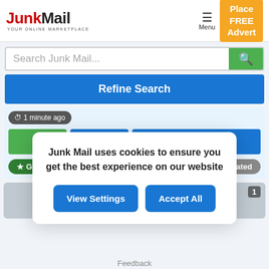[Figure (logo): JunkMail logo with red J and black JunkMail text, tagline YOUR ONLINE MARKETPLACE]
Menu
Place FREE Advert
Search Junk Mail...
Refine Search
1 minute ago
Contact
Gearbox Centre
Moderated
Junk Mail uses cookies to ensure you get the best experience on our website
View Settings
Accept All
Feedback